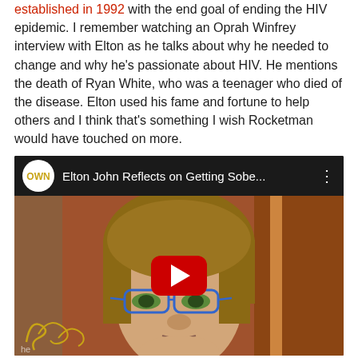established in 1992 with the end goal of ending the HIV epidemic. I remember watching an Oprah Winfrey interview with Elton as he talks about why he needed to change and why he's passionate about HIV. He mentions the death of Ryan White, who was a teenager who died of the disease. Elton used his fame and fortune to help others and I think that's something I wish Rocketman would have touched on more.
[Figure (screenshot): Embedded YouTube video thumbnail from OWN channel titled 'Elton John Reflects on Getting Sobe...' showing Elton John with brown hair and blue glasses, with a red YouTube play button overlay and partial Oprah signature watermark at bottom left.]